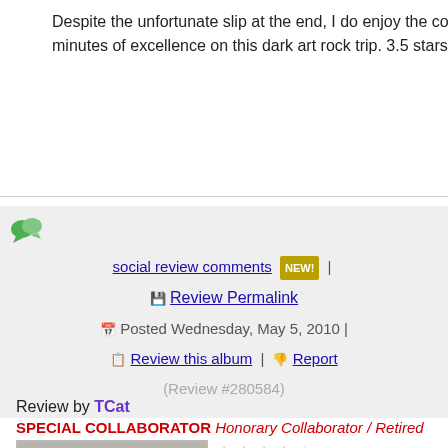Despite the unfortunate slip at the end, I do enjoy the continuous 37 minute minutes of excellence on this dark art rock trip. 3.5 stars
social review comments NEW! | Review Permalink | Posted Wednesday, May 5, 2010 | Review this album | Report | (Review #280584)
Review by TCat
SPECIAL COLLABORATOR Honorary Collaborator / Retired Admin
[Figure (photo): Photo of a grey tabby cat]
★★★★☆ Wild Opera is No-man's 3rd official full length LP. It was released in 1996, 2 years after the critically acclaimed 'Flowermouth'. It